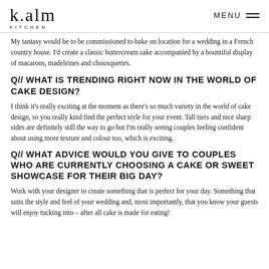k.alm KITCHEN
My tantasy would be to be commissioned to bake on location for a wedding in a French country house. I'd create a classic buttercream cake accompanied by a bountiful display of macarons, madeleines and chouxquettes.
Q// WHAT IS TRENDING RIGHT NOW IN THE WORLD OF CAKE DESIGN?
I think it's really exciting at the moment as there's so much variety in the world of cake design, so you really kind find the perfect style for your event. Tall tiers and nice sharp sides are definitely still the way to go but I'm really seeing couples feeling confident about using more texture and colour too, which is exciting.
Q// WHAT ADVICE WOULD YOU GIVE TO COUPLES WHO ARE CURRENTLY CHOOSING A CAKE OR SWEET SHOWCASE FOR THEIR BIG DAY?
Work with your designer to create something that is perfect for your day. Something that suits the style and feel of your wedding and, most importantly, that you know your guests will enjoy tucking into – after all cake is made for eating!